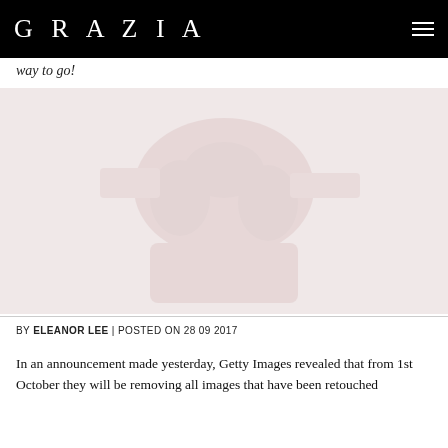GRAZIA
way to go!
[Figure (photo): Faded/washed-out editorial photo with a very light pinkish-beige background, possibly showing a person or fashion subject, heavily faded so details are barely visible.]
BY ELEANOR LEE | POSTED ON 28 09 2017
In an announcement made yesterday, Getty Images revealed that from 1st October they will be removing all images that have been retouched